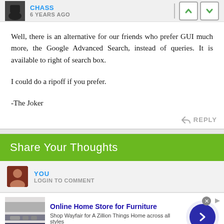CHASS · 6 YEARS AGO
Well, there is an alternative for our friends who prefer GUI much more, the Google Advanced Search, instead of queries. It is available to right of search box.

I could do a ripoff if you prefer.

-The Joker
Share Your Thoughts
YOU
LOGIN TO COMMENT
[Figure (other): Advertisement banner for Wayfair online furniture store with product image, ad title 'Online Home Store for Furniture', description text, URL, and a circular navigation button]
Online Home Store for Furniture
Shop Wayfair for A Zillion Things Home across all styles
www.wayfair.com